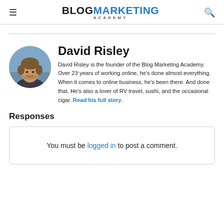BLOG MARKETING ACADEMY
[Figure (photo): Circular headshot photo of David Risley, a smiling man with medium-length brown hair, outdoors.]
David Risley
David Risley is the founder of the Blog Marketing Academy. Over 23 years of working online, he's done almost everything. When it comes to online business, he's been there. And done that. He's also a lover of RV travel, sushi, and the occasional cigar. Read his full story.
Responses
You must be logged in to post a comment.